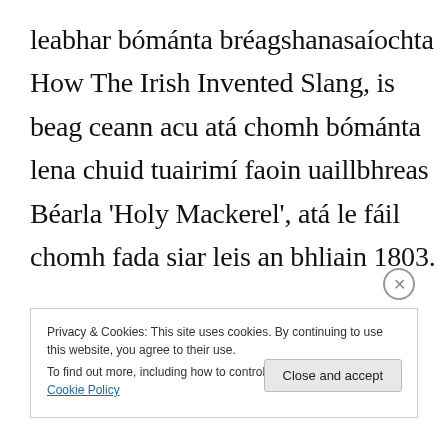leabhar bómánta bréagshanasaíochta How The Irish Invented Slang, is beag ceann acu atá chomh bómánta lena chuid tuairimí faoin uaillbhreas Béarla 'Holy Mackerel', atá le fáil chomh fada siar leis an bhliain 1803.
Privacy & Cookies: This site uses cookies. By continuing to use this website, you agree to their use. To find out more, including how to control cookies, see here: Cookie Policy
Close and accept